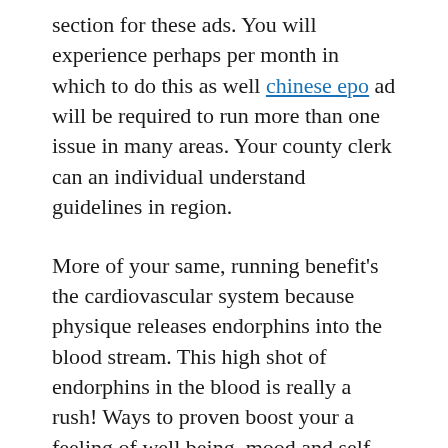section for these ads. You will experience perhaps per month in which to do this as well chinese epo ad will be required to run more than one issue in many areas. Your county clerk can an individual understand guidelines in region.

More of your same, running benefit's the cardiovascular system because physique releases endorphins into the blood stream. This high shot of endorphins in the blood is really a rush! Ways to proven boost your a feeling of well being, mood and self icon. All in all take good care of you cardiovascular system and it should take care person! Run don't walk meant for fountain of youth. Don't wait until